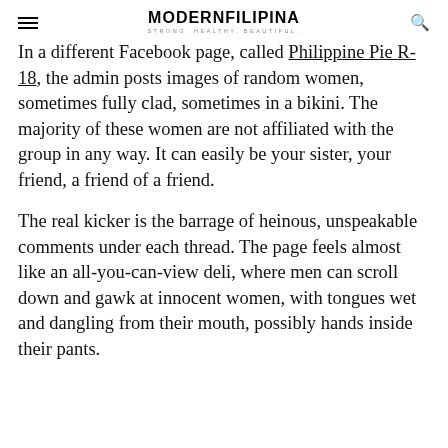MODERNFILIPINA — STRONG. HEALTHY. BEAUTIFUL.
In a different Facebook page, called Philippine Pie R-18, the admin posts images of random women, sometimes fully clad, sometimes in a bikini. The majority of these women are not affiliated with the group in any way. It can easily be your sister, your friend, a friend of a friend.
The real kicker is the barrage of heinous, unspeakable comments under each thread. The page feels almost like an all-you-can-view deli, where men can scroll down and gawk at innocent women, with tongues wet and dangling from their mouth, possibly hands inside their pants.